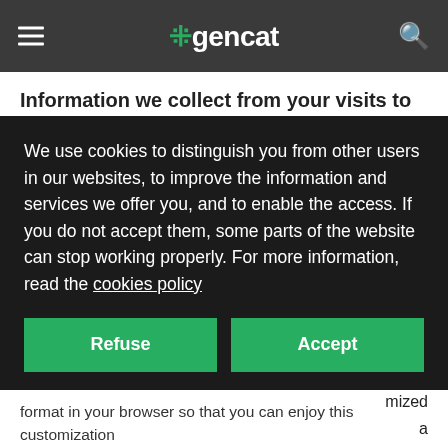≡ #gencat 🔍
Information we collect from your visits to our websites
For the simple fact of browsing our webs, we collect limited
We use cookies to distinguish you from other users in our websites, to improve the information and services we offer you, and to enable the access. If you do not accept them, some parts of the website can stop working properly. For more information, read the cookies policy
format in your browser so that you can enjoy this customization